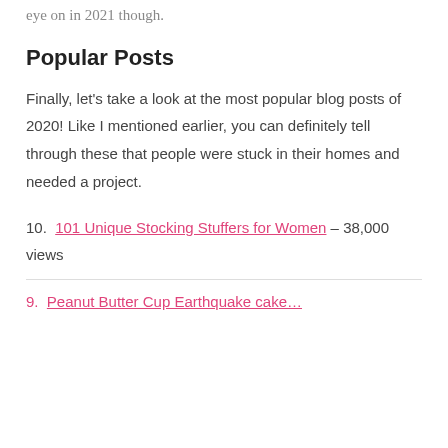eye on in 2021 though.
Popular Posts
Finally, let's take a look at the most popular blog posts of 2020! Like I mentioned earlier, you can definitely tell through these that people were stuck in their homes and needed a project.
10. 101 Unique Stocking Stuffers for Women – 38,000 views
9. Peanut Butter Cup Earthquake cake…